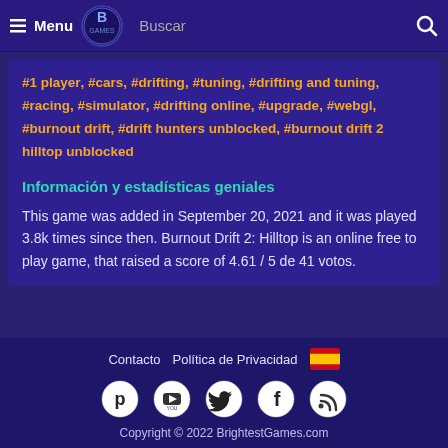≡ Menu  Buscar 🔍
#1 player, #cars, #drifting, #tuning, #drifting and tuning, #racing, #simulator, #drifting online, #upgrade, #webgl, #burnout drift, #drift hunters unblocked, #burnout drift 2 hilltop unblocked
Información y estadísticas geniales
This game was added in September 20, 2021 and it was played 3.8k times since then. Burnout Drift 2: Hilltop is an online free to play game, that raised a score of 4.61 / 5 de 41 votos.
Contacto   Política de Privacidad   [ES flag]   [Pinterest] [YouTube] [Twitter] [Facebook] [RSS]   Copyright © 2022 BrightestGames.com